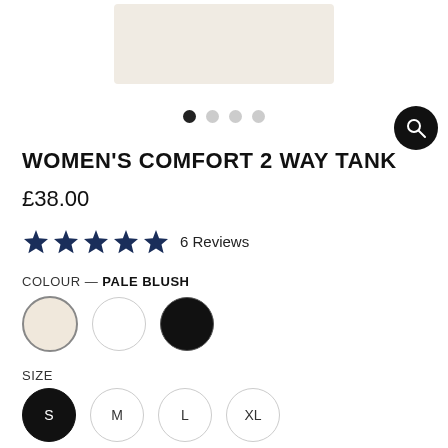[Figure (photo): Partial view of a women's tank top in pale blush color against white background]
WOMEN'S COMFORT 2 WAY TANK
£38.00
6 Reviews
COLOUR — PALE BLUSH
SIZE